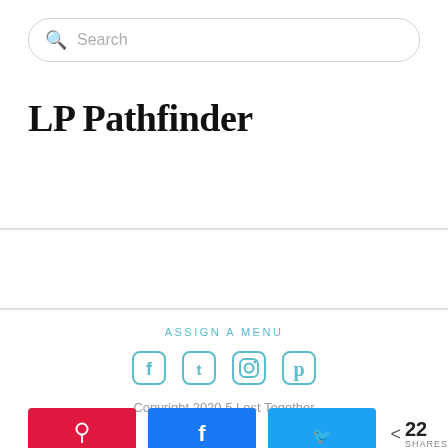Search
LP Pathfinder
ASSIGN A MENU
[Figure (infographic): Social media icons for Facebook, Twitter, Instagram, and Pinterest in light blue/teal color]
Copyright 2020 5 Lost Together
[Figure (infographic): Share bar with Pinterest (red), Facebook (blue), Twitter (light blue) buttons, and share count showing 22 SHARES]